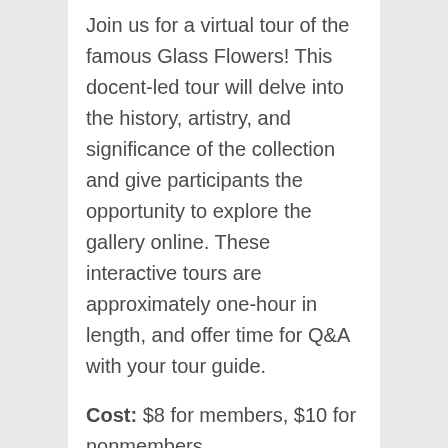Join us for a virtual tour of the famous Glass Flowers! This docent-led tour will delve into the history, artistry, and significance of the collection and give participants the opportunity to explore the gallery online. These interactive tours are approximately one-hour in length, and offer time for Q&A with your tour guide.
Cost: $8 for members, $10 for nonmembers.
Register here for Virtual Glass…